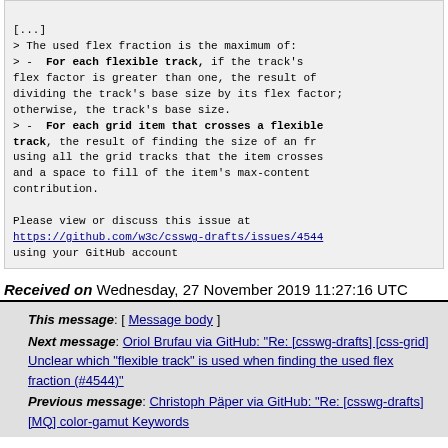[...]
> The used flex fraction is the maximum of:
> -  **For each flexible track,** if the track's flex factor is greater than one, the result of dividing the track's base size by its flex factor; otherwise, the track's base size.
> -  **For each grid item that crosses a flexible track**, the result of finding the size of an fr using all the grid tracks that the item crosses and a space to fill of the item's max-content contribution.

Please view or discuss this issue at
https://github.com/w3c/csswg-drafts/issues/4544
using your GitHub account
Received on Wednesday, 27 November 2019 11:27:16 UTC
This message: [ Message body ]
Next message: Oriol Brufau via GitHub: "Re: [csswg-drafts] [css-grid] Unclear which "flexible track" is used when finding the used flex fraction (#4544)"
Previous message: Christoph Päper via GitHub: "Re: [csswg-drafts] [MQ] color-gamut Keywords